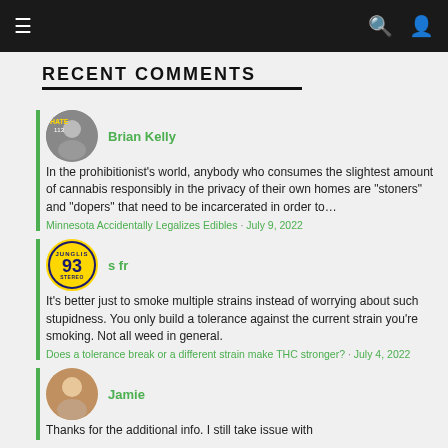Navigation bar with menu, search, and user icons
RECENT COMMENTS
Brian Kelly
In the prohibitionist's world, anybody who consumes the slightest amount of cannabis responsibly in the privacy of their own homes are "stoners" and "dopers" that need to be incarcerated in order to…
Minnesota Accidentally Legalizes Edibles · July 9, 2022
s fr
It's better just to smoke multiple strains instead of worrying about such stupidness. You only build a tolerance against the current strain you're smoking. Not all weed in general.
Does a tolerance break or a different strain make THC stronger? · July 4, 2022
Jamie
Thanks for the additional info. I still take issue with